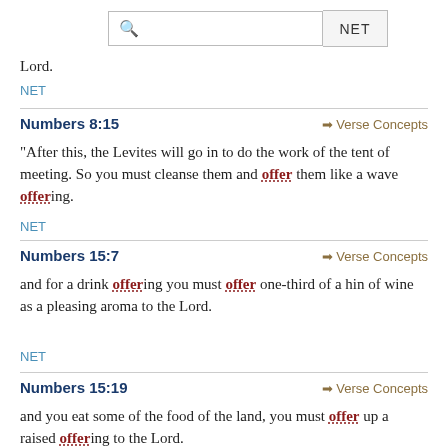[Figure (other): Search bar with magnifying glass icon and NET button]
Lord.
NET
Numbers 8:15
"After this, the Levites will go in to do the work of the tent of meeting. So you must cleanse them and offer them like a wave offering.
NET
Numbers 15:7
and for a drink offering you must offer one-third of a hin of wine as a pleasing aroma to the Lord.
NET
Numbers 15:19
and you eat some of the food of the land, you must offer up a raised offering to the Lord.